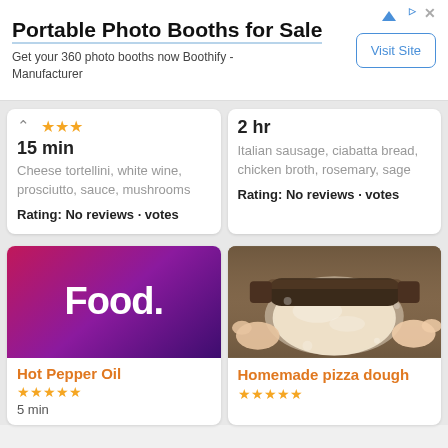[Figure (screenshot): Advertisement banner for Portable Photo Booths for Sale by Boothify. Contains title, subtitle text, and a Visit Site button.]
Portable Photo Booths for Sale
Get your 360 photo booths now Boothify - Manufacturer
Visit Site
★★★
15 min
Cheese tortellini, white wine, prosciutto, sauce, mushrooms
Rating: No reviews · votes
2 hr
Italian sausage, ciabatta bread, chicken broth, rosemary, sage
Rating: No reviews · votes
[Figure (logo): Food Network logo - white text 'Food.' with orange dot on purple-to-magenta gradient background]
Hot Pepper Oil
★★★★★
5 min
[Figure (photo): Photo of hands rolling pizza dough with a rolling pin on a floured surface]
Homemade pizza dough
★★★★★